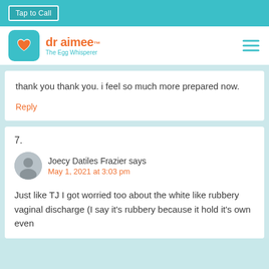Tap to Call
[Figure (logo): Dr Aimee The Egg Whisperer logo with teal icon and orange text, and hamburger menu]
thank you thank you. i feel so much more prepared now.
Reply
7.
Joecy Datiles Frazier says
May 1, 2021 at 3:03 pm
Just like TJ I got worried too about the white like rubbery vaginal discharge (I say it's rubbery because it hold it's own even